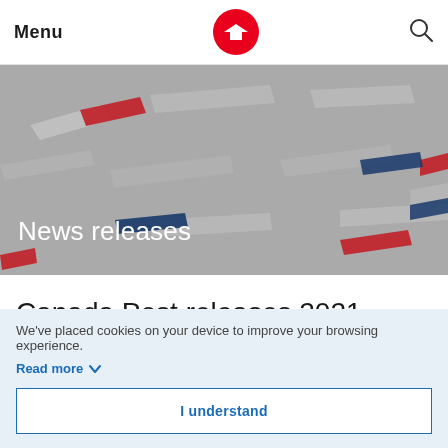Menu
[Figure (illustration): Canada Post logo — red circle with white arrow/envelope icon]
[Figure (illustration): Search icon (magnifying glass)]
[Figure (illustration): Hero banner with grey background, decorative red, blue, and grey parallelogram shapes, with white text 'News releases']
Canada Post releases 2021
We've placed cookies on your device to improve your browsing experience.
Read more
I understand